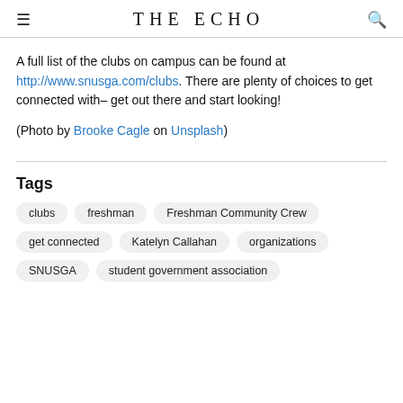THE ECHO
A full list of the clubs on campus can be found at http://www.snusga.com/clubs. There are plenty of choices to get connected with– get out there and start looking!
(Photo by Brooke Cagle on Unsplash)
Tags
clubs
freshman
Freshman Community Crew
get connected
Katelyn Callahan
organizations
SNUSGA
student government association